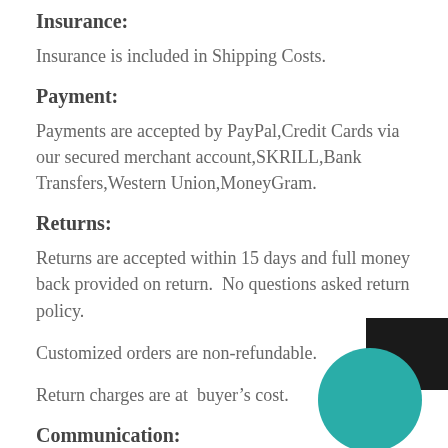Insurance:
Insurance is included in Shipping Costs.
Payment:
Payments are accepted by PayPal,Credit Cards via our secured merchant account,SKRILL,Bank Transfers,Western Union,MoneyGram.
Returns:
Returns are accepted within 15 days and full money back provided on return.  No questions asked return policy.
Customized orders are non-refundable.
Return charges are at  buyer’s cost.
Communication:
[Figure (illustration): Decorative teal circle overlapping a black rectangle in the bottom-right corner of the page.]